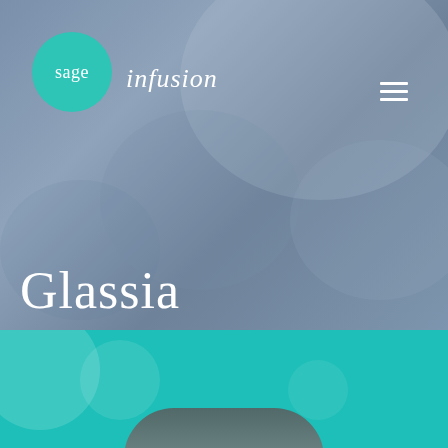[Figure (logo): Sage Infusion logo: teal circle with 'sage' text inside, and 'infusion' text to the right in white serif font]
[Figure (other): Hamburger menu icon (three horizontal white lines) in top right corner]
Glassia
[Figure (photo): Teal/turquoise colored band at bottom with soft bokeh circles, and partial portrait photo of a person visible at very bottom edge]